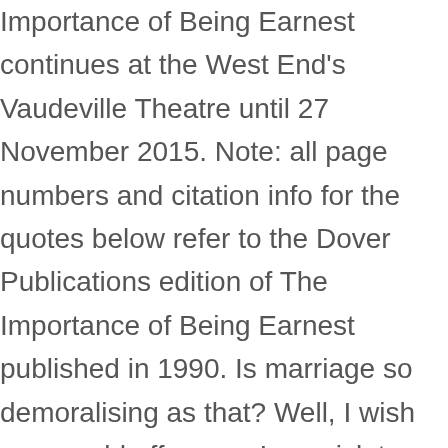Importance of Being Earnest continues at the West End's Vaudeville Theatre until 27 November 2015. Note: all page numbers and citation info for the quotes below refer to the Dover Publications edition of The Importance of Being Earnest published in 1990. Is marriage so demoralising as that? Well, I wish you would offer one. I am sick to death of cleverness. The Importance of Being Earnest: Act 1, Part 1 Summary & Analysis Next. Jack. ... Home Study Guides The Importance of Being Earnest Act III, Scene 1 Summary and Analysis The Importance of Being Earnest by Oscar Wilde. You can't go anywhere without meeting clever people. the card as proof that Jack's name is Ernest. I happen to be more than usually hard up. What shall we do after dinner? - Act 1 "Gwendolen, it is a terrible thing for a man to find out suddenly that all his life he